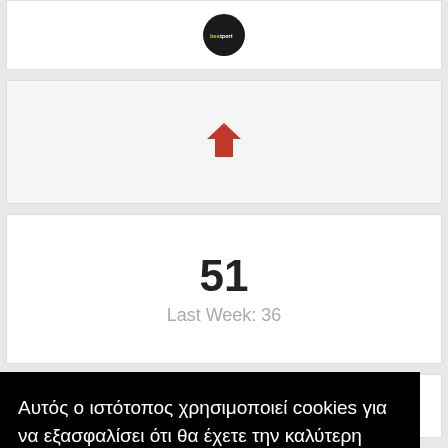[Figure (logo): Beatport logo - circular black icon with white 'beatport' text]
[Figure (other): Red downward arrow icon]
51
Last Week: 36
Tamta feat. Xenia Ghali
Αυτός ο ιστότοπος χρησιμοποιεί cookies για να εξασφαλίσει ότι θα έχετε την καλύτερη εμπειρία.  Μάθετε περισσότερα εδώ
ΔΕΧΟΜΑΙ